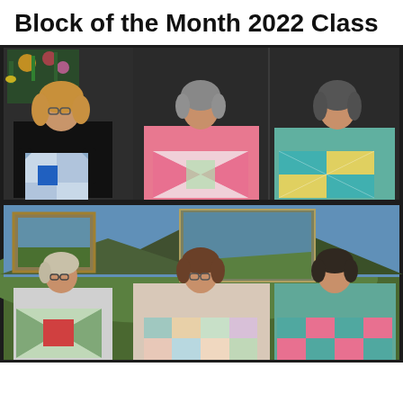Block of the Month 2022 Class
[Figure (photo): Top row: Three women standing in front of artwork on walls, each holding a handmade quilt block. Left woman holds a blue and tan quilt block, center woman holds a pink pinwheel quilt block, right woman holds a teal and yellow quilt block.]
[Figure (photo): Bottom row: Three women standing in front of artwork on walls, each holding a handmade quilt block. Left woman holds a green and red star quilt block, center woman holds a pastel quilt block, right woman holds a teal and pink quilt block.]